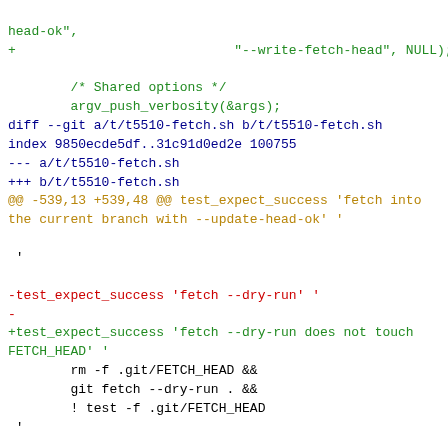head-ok",
+                            "--write-fetch-head", NULL);

        /* Shared options */
        argv_push_verbosity(&args);
diff --git a/t/t5510-fetch.sh b/t/t5510-fetch.sh
index 9850ecde5df..31c91d0ed2e 100755
--- a/t/t5510-fetch.sh
+++ b/t/t5510-fetch.sh
@@ -539,13 +539,48 @@ test_expect_success 'fetch into the current branch with --update-head-ok' '

 '

-test_expect_success 'fetch --dry-run' '
-
+test_expect_success 'fetch --dry-run does not touch FETCH_HEAD' '
        rm -f .git/FETCH_HEAD &&
        git fetch --dry-run . &&
        ! test -f .git/FETCH_HEAD
 '

+test_expect_success '--no-write-fetch-head does not touch FETCH_HEAD' '
+        rm -f .git/FETCH_HEAD &&
+        git fetch --no-write-fetch-head . &&
+        ! test -f .git/FETCH_HEAD
+'
+